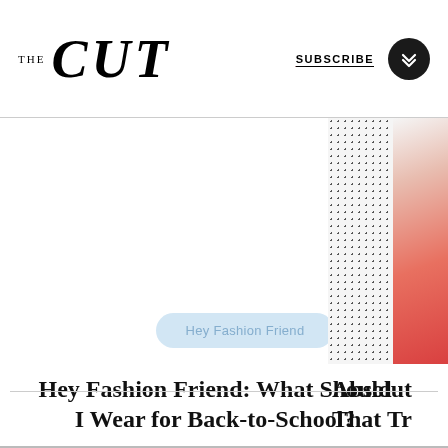THE CUT | SUBSCRIBE
[Figure (screenshot): Light blue pill-shaped button with text 'Hey Fashion Friend' on a white background, with partial image of a figure with dotted pattern and red garment on the right side]
Hey Fashion Friend: What Should I Wear for Back-to-School?
ALL SHOPPING >
Absolutel That Tra